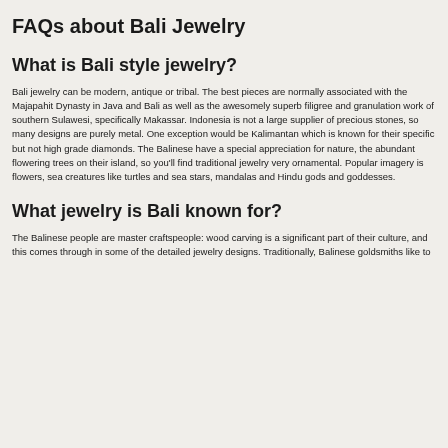FAQs about Bali Jewelry
What is Bali style jewelry?
Bali jewelry can be modern, antique or tribal. The best pieces are normally associated with the Majapahit Dynasty in Java and Bali as well as the awesomely superb filigree and granulation work of southern Sulawesi, specifically Makassar. Indonesia is not a large supplier of precious stones, so many designs are purely metal. One exception would be Kalimantan which is known for their specific but not high grade diamonds. The Balinese have a special appreciation for nature, the abundant flowering trees on their island, so you'll find traditional jewelry very ornamental. Popular imagery is flowers, sea creatures like turtles and sea stars, mandalas and Hindu gods and goddesses.
What jewelry is Bali known for?
The Balinese people are master craftspeople: wood carving is a significant part of their culture, and this comes through in some of the detailed jewelry designs. Traditionally, Balinese goldsmiths like to